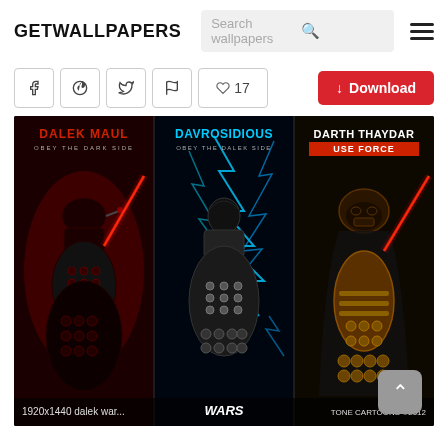GETWALLPAPERS
[Figure (screenshot): Website header with GETWALLPAPERS logo, search box, and hamburger menu]
[Figure (photo): Three Dalek parody wallpaper panels: Dalek Maul (Obey the Dark Side), Davrosidious (Obey the Dalek Side), and Darth Thaydar (Use Force), styled as Star Wars movie posters. Bottom text shows: 1920x1440 dalek war... | WARS | TONE CARTOONS ©2012]
1920x1440 dalek war...    WARS    TONE CARTOONS ©2012